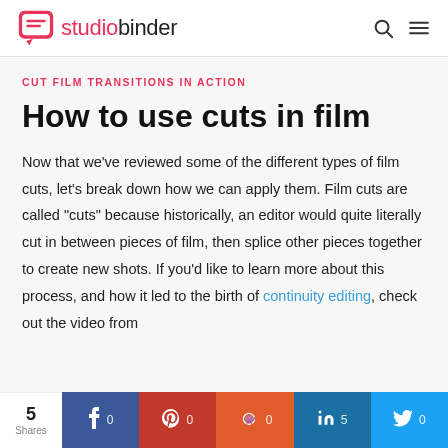studiobinder
CUT FILM TRANSITIONS IN ACTION
How to use cuts in film
Now that we’ve reviewed some of the different types of film cuts, let’s break down how we can apply them. Film cuts are called “cuts” because historically, an editor would quite literally cut in between pieces of film, then splice other pieces together to create new shots. If you’d like to learn more about this process, and how it led to the birth of continuity editing, check out the video from
5 Shares | Facebook 0 | Pinterest 0 | Reddit 0 | LinkedIn 5 | Twitter 0